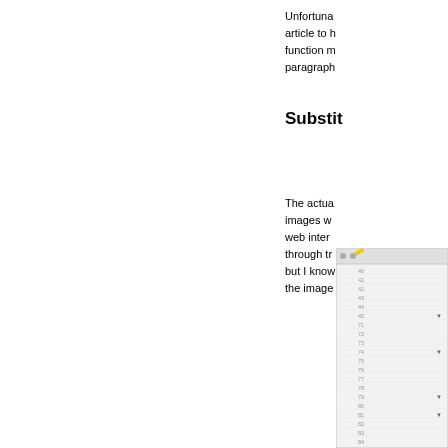Unfortunately, the article to have the function n... paragraph...
Substit...
The actual images w... web inter... through tr... but I know... the image...
[Figure (screenshot): A UI panel or editor window showing a numbered list or code editor interface with rows numbered ~40-80, some rows having arrow/dropdown indicators, and a toolbar with a pencil/edit icon.]